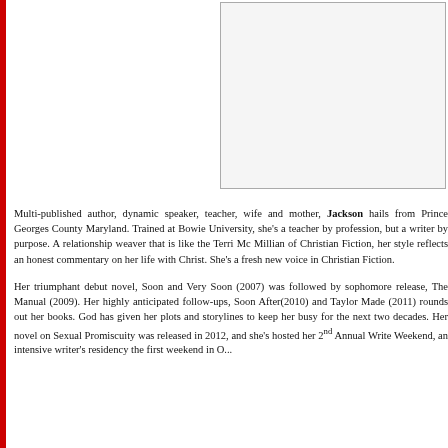[Figure (photo): Author photo placeholder — white/light grey rectangle with thin border]
Multi-published author, dynamic speaker, teacher, wife and mother, Jackson hails from Prince Georges County Maryland. Trained at Bowie University, she's a teacher by profession, but a writer by purpose. A relationship weaver that is like the Terri Mc Millian of Christian Fiction, her style reflects an honest commentary on her life with Christ. She's a fresh new voice in Christian Fiction.
Her triumphant debut novel, Soon and Very Soon (2007) was followed by sophomore release, The Manual (2009). Her highly anticipated follow-ups, Soon After(2010) and Taylor Made (2011) rounds out her books. God has given her plots and storylines to keep her busy for the next two decades. Her novel on Sexual Promiscuity was released in 2012, and she's hosted her 2nd Annual Write Weekend, an intensive writer's residency the first weekend in October.